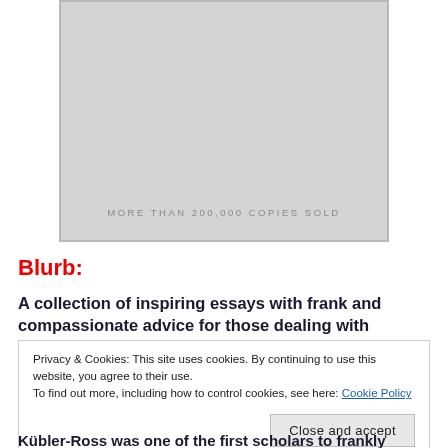[Figure (photo): Book cover image (cropped, showing bottom portion) with text 'MORE THAN 200,000 COPIES SOLD' on a gray/silver background]
Blurb:
A collection of inspiring essays with frank and compassionate advice for those dealing with terminal
Privacy & Cookies: This site uses cookies. By continuing to use this website, you agree to their use.
To find out more, including how to control cookies, see here: Cookie Policy
Close and accept
Kübler-Ross was one of the first scholars to frankly